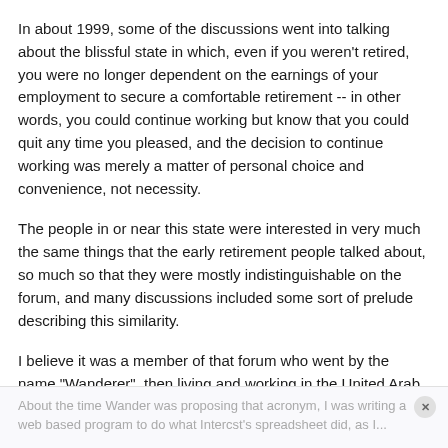In about 1999, some of the discussions went into talking about the blissful state in which, even if you weren't retired, you were no longer dependent on the earnings of your employment to secure a comfortable retirement -- in other words, you could continue working but know that you could quit any time you pleased, and the decision to continue working was merely a matter of personal choice and convenience, not necessity.
The people in or near this state were interested in very much the same things that the early retirement people talked about, so much so that they were mostly indistinguishable on the forum, and many discussions included some sort of prelude describing this similarity.
I believe it was a member of that forum who went by the name "Wanderer", then living and working in the United Arab Emirates, who pointed out the similarity, and then proposed an acronym *"FI/RE", for Financial Independence and/or Retiring Early". *It soon shorted to just FIRE. (Wanderer joined this forum soon after it started, but never posted here.)
About the time Wander was proposing that acronym, I was writing a web based program to do what Intercst's spreadsheet did, as I...